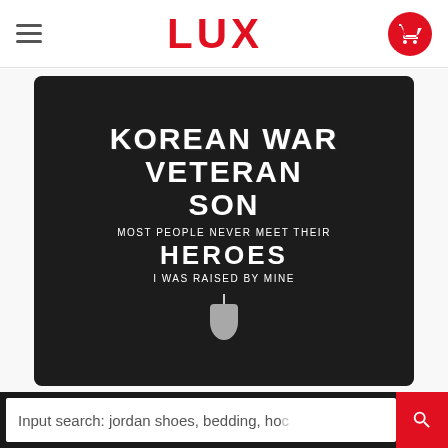LUX
[Figure (photo): Black t-shirt with white distressed text reading: KOREAN WAR VETERAN SON / MOST PEOPLE NEVER MEET THEIR HEROES / I WAS RAISED BY MINE, with a dog tag graphic at the bottom]
Input search: jordan shoes, bedding, ho...